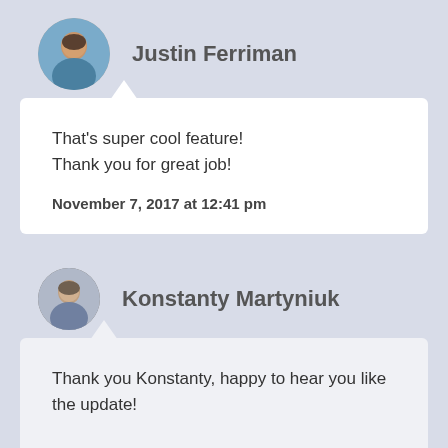[Figure (photo): Circular avatar photo of Justin Ferriman]
Justin Ferriman
That's super cool feature!
Thank you for great job!

November 7, 2017 at 12:41 pm
[Figure (photo): Circular avatar photo of Konstanty Martyniuk]
Konstanty Martyniuk
Thank you Konstanty, happy to hear you like the update!